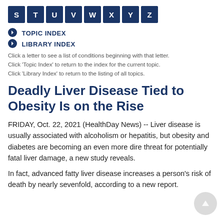[Figure (other): Alphabet navigation bar with dark navy boxes for letters S T U V W X Y Z]
TOPIC INDEX
LIBRARY INDEX
Click a letter to see a list of conditions beginning with that letter.
Click 'Topic Index' to return to the index for the current topic.
Click 'Library Index' to return to the listing of all topics.
Deadly Liver Disease Tied to Obesity Is on the Rise
FRIDAY, Oct. 22, 2021 (HealthDay News) -- Liver disease is usually associated with alcoholism or hepatitis, but obesity and diabetes are becoming an even more dire threat for potentially fatal liver damage, a new study reveals.
In fact, advanced fatty liver disease increases a person's risk of death by nearly sevenfold, according to a new report.